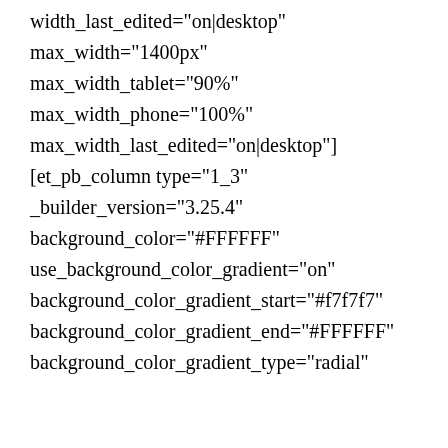width_last_edited="on|desktop"
max_width="1400px"
max_width_tablet="90%"
max_width_phone="100%"
max_width_last_edited="on|desktop"]
[et_pb_column type="1_3"
_builder_version="3.25.4"
background_color="#FFFFFF"
use_background_color_gradient="on"
background_color_gradient_start="#f7f7f7"
background_color_gradient_end="#FFFFFF"
background_color_gradient_type="radial"